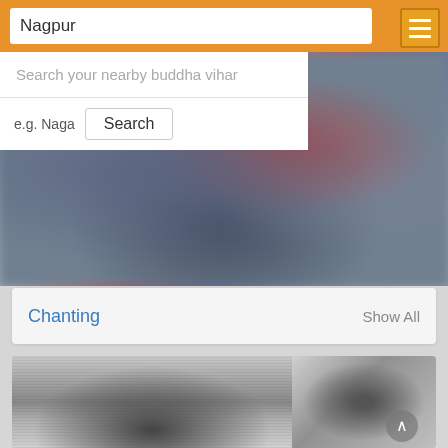Nagpur
Search your nearby buddha vihar
e.g. Naga  Search
[Figure (photo): Blurred/out-of-focus color photo showing a chanting scene with draped fabrics in blue, red and grey tones]
Chanting    Show All
[Figure (photo): Black and white photograph split into two panels: left panel shows a large crowd gathered outdoors; right panel shows a person speaking at a microphone]